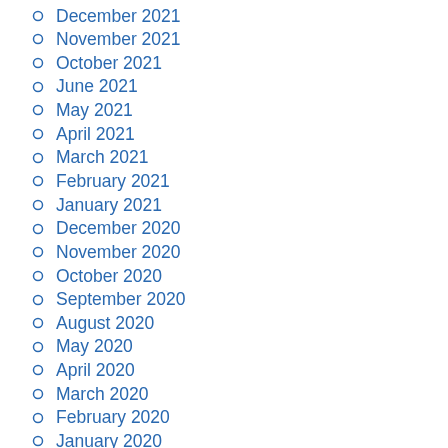December 2021
November 2021
October 2021
June 2021
May 2021
April 2021
March 2021
February 2021
January 2021
December 2020
November 2020
October 2020
September 2020
August 2020
May 2020
April 2020
March 2020
February 2020
January 2020
December 2019